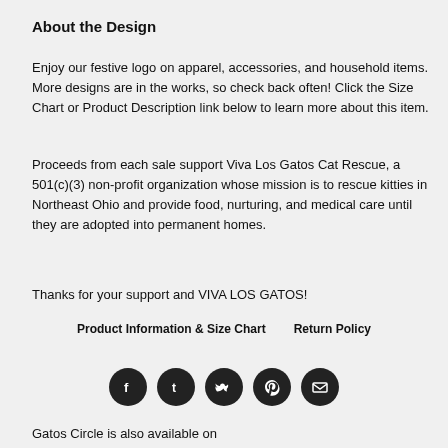About the Design
Enjoy our festive logo on apparel, accessories, and household items. More designs are in the works, so check back often! Click the Size Chart or Product Description link below to learn more about this item.
Proceeds from each sale support Viva Los Gatos Cat Rescue, a 501(c)(3) non-profit organization whose mission is to rescue kitties in Northeast Ohio and provide food, nurturing, and medical care until they are adopted into permanent homes.
Thanks for your support and VIVA LOS GATOS!
Product Information & Size Chart    Return Policy
[Figure (infographic): Row of five social media icon circles (Facebook, Tumblr, Twitter, Pinterest, Email) in dark/black circles]
Gatos Circle is also available on